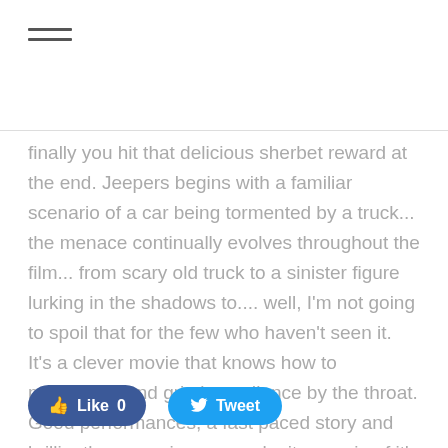[Figure (other): Hamburger menu icon (three horizontal lines)]
finally you hit that delicious sherbet reward at the end. Jeepers begins with a familiar scenario of a car being tormented by a truck... the menace continually evolves throughout the film... from scary old truck to a sinister figure lurking in the shadows to.... well, I'm not going to spoil that for the few who haven't seen it. It's a clever movie that knows how to manipulate and grip its audience by the throat. Good performances, a fast paced story and brilliantly creepy images make it a movie of it's time. See it if you haven't... and if you have then re-watch it for kicks.
[Figure (other): Social sharing buttons: Like 0 (Facebook) and Tweet (Twitter)]